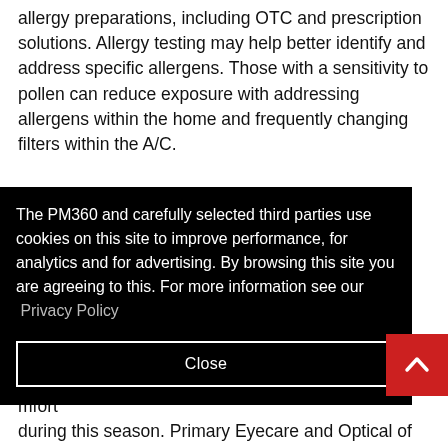allergy preparations, including OTC and prescription solutions. Allergy testing may help better identify and address specific allergens. Those with a sensitivity to pollen can reduce exposure with addressing allergens within the home and frequently changing filters within the A/C.
The PM360 and carefully selected third parties use cookies on this site to improve performance, for analytics and for advertising. By browsing this site you are agreeing to this. For more information see our Privacy Policy
Close
mfort during this season. Primary Eyecare and Optical of